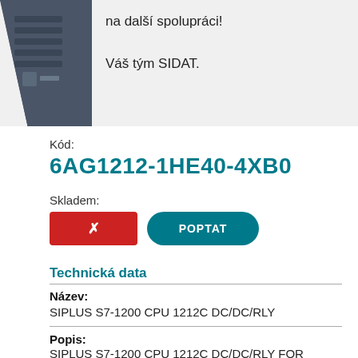[Figure (photo): Dark grey industrial PLC/controller device shown partially at top left]
na další spolupráci!

Váš tým SIDAT.
Kód:
6AG1212-1HE40-4XB0
Skladem:
× POPTAT
Technická data
Název:
SIPLUS S7-1200 CPU 1212C DC/DC/RLY
Popis:
SIPLUS S7-1200 CPU 1212C DC/DC/RLY FOR MEDIAL STRESS WITH CONFORMAL COATING BASED ON